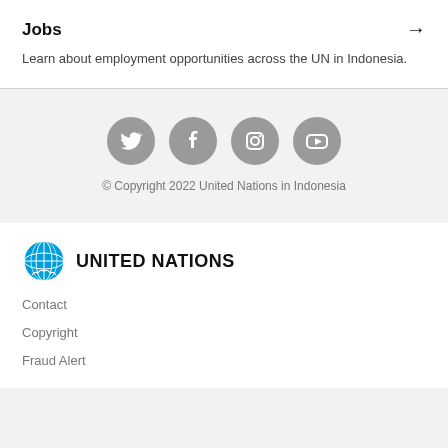Jobs →
Learn about employment opportunities across the UN in Indonesia.
[Figure (illustration): Four social media icons (Twitter, Facebook, Instagram, YouTube) in grey circles]
© Copyright 2022 United Nations in Indonesia
[Figure (logo): United Nations logo (blue globe) with text UNITED NATIONS]
Contact
Copyright
Fraud Alert